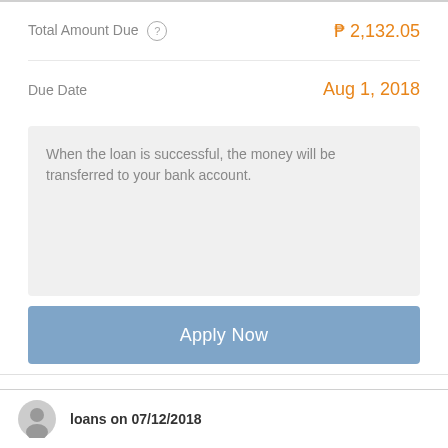Total Amount Due  ₱ 2,132.05
Due Date  Aug 1, 2018
When the loan is successful, the money will be transferred to your bank account.
Apply Now
loans on 07/12/2018